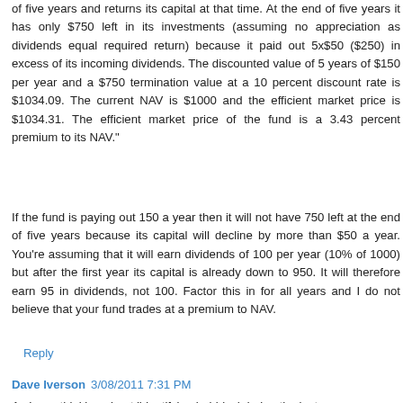of five years and returns its capital at that time. At the end of five years it has only $750 left in its investments (assuming no appreciation as dividends equal required return) because it paid out 5x$50 ($250) in excess of its incoming dividends. The discounted value of 5 years of $150 per year and a $750 termination value at a 10 percent discount rate is $1034.09. The current NAV is $1000 and the efficient market price is $1034.31. The efficient market price of the fund is a 3.43 percent premium to its NAV."
If the fund is paying out 150 a year then it will not have 750 left at the end of five years because its capital will decline by more than $50 a year. You're assuming that it will earn dividends of 100 per year (10% of 1000) but after the first year its capital is already down to 950. It will therefore earn 95 in dividends, not 100. Factor this in for all years and I do not believe that your fund trades at a premium to NAV.
Reply
Dave Iverson 3/08/2011 7:31 PM
As I was thinking about 'identifying bubbles' during the last